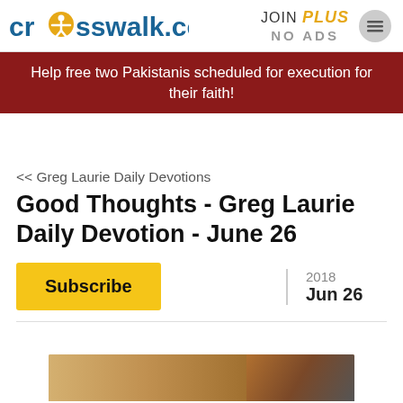crosswalk.com | JOIN PLUS NO ADS
Help free two Pakistanis scheduled for execution for their faith!
<< Greg Laurie Daily Devotions
Good Thoughts - Greg Laurie Daily Devotion - June 26
Subscribe
2018 Jun 26
[Figure (photo): Partial photo visible at bottom of page]